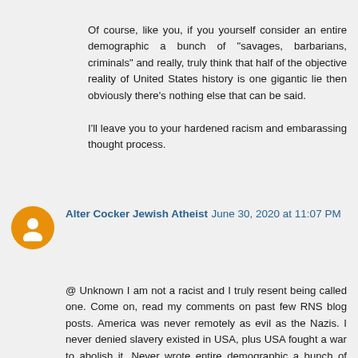Of course, like you, if you yourself consider an entire demographic a bunch of "savages, barbarians, criminals" and really, truly think that half of the objective reality of United States history is one gigantic lie then obviously there's nothing else that can be said.

I'll leave you to your hardened racism and embarassing thought process.
Alter Cocker Jewish Atheist June 30, 2020 at 11:07 PM
@ Unknown I am not a racist and I truly resent being called one. Come on, read my comments on past few RNS blog posts. America was never remotely as evil as the Nazis. I never denied slavery existed in USA, plus USA fought a war to abolish it. Never wrote entire demographic a bunch of savages, barbarians, criminals, but if you refer to the rioters that looted, raped